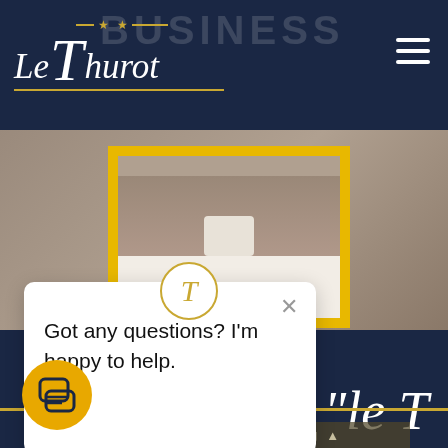Le Thurot - Hotel website header with logo and hamburger menu
[Figure (screenshot): Hotel website screenshot showing Le Thurot logo on dark navy background, with a person in a white shirt framed by a yellow border, a navy History section below, a chat popup saying 'Got any questions? I'm happy to help.' with a close button, a circular logo icon, an orange chat button, and 'Hotel le T' large text with a Booking bar]
Le Thurot
History
Got any questions? I'm happy to help.
Hotel "le T
Booking